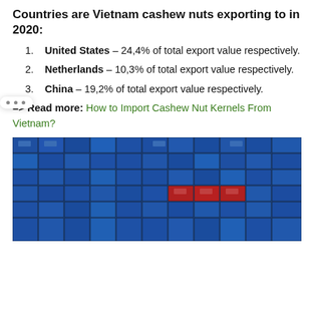Countries are Vietnam cashew nuts exporting to in 2020:
United States – 24,4% of total export value respectively.
Netherlands – 10,3% of total export value respectively.
China – 19,2% of total export value respectively.
=> Read more: How to Import Cashew Nut Kernels From Vietnam?
[Figure (photo): Aerial view of stacked blue and red shipping containers at a port]